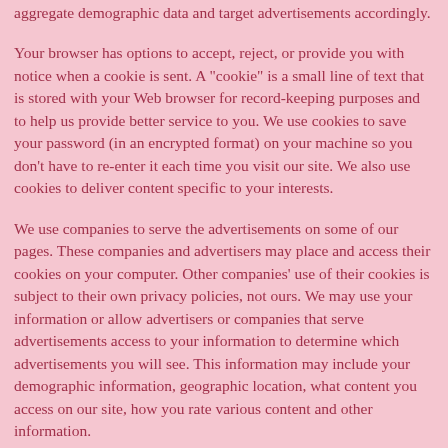aggregate demographic data and target advertisements accordingly.
Your browser has options to accept, reject, or provide you with notice when a cookie is sent. A "cookie" is a small line of text that is stored with your Web browser for record-keeping purposes and to help us provide better service to you. We use cookies to save your password (in an encrypted format) on your machine so you don't have to re-enter it each time you visit our site. We also use cookies to deliver content specific to your interests.
We use companies to serve the advertisements on some of our pages. These companies and advertisers may place and access their cookies on your computer. Other companies' use of their cookies is subject to their own privacy policies, not ours. We may use your information or allow advertisers or companies that serve advertisements access to your information to determine which advertisements you will see. This information may include your demographic information, geographic location, what content you access on our site, how you rate various content and other information.
Our site contains links, including banner and other ads, to other Websites. We are not responsible for the privacy practices or the content of such websites. Our site may also link to Websites that feature our trademarks and names along with trademarks and names of other companies. You should look at the privacy policy on that co-branded Website, as the co-branded Website may not be under our control.
For ...